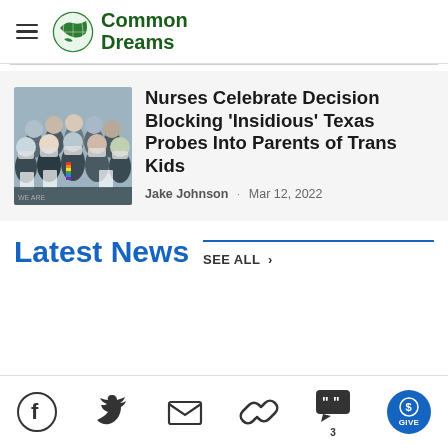Common Dreams
Nurses Celebrate Decision Blocking 'Insidious' Texas Probes Into Parents of Trans Kids
Jake Johnson · Mar 12, 2022
Latest News
SEE ALL >
[Figure (photo): Group of people wearing masks holding signs]
[Figure (infographic): Social media bar with Facebook, Twitter, Mail, Link, Comments (3), and GIVE button icons]